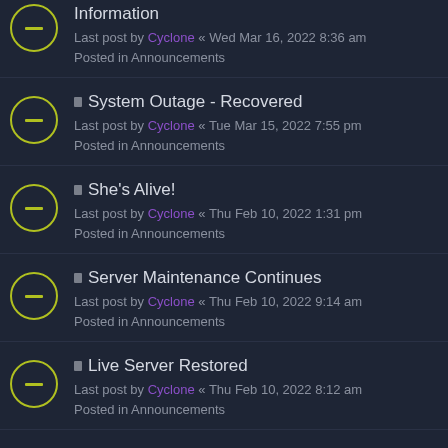Information
Last post by Cyclone « Wed Mar 16, 2022 8:36 am
Posted in Announcements
System Outage - Recovered
Last post by Cyclone « Tue Mar 15, 2022 7:55 pm
Posted in Announcements
She's Alive!
Last post by Cyclone « Thu Feb 10, 2022 1:31 pm
Posted in Announcements
Server Maintenance Continues
Last post by Cyclone « Thu Feb 10, 2022 9:14 am
Posted in Announcements
Live Server Restored
Last post by Cyclone « Thu Feb 10, 2022 8:12 am
Posted in Announcements